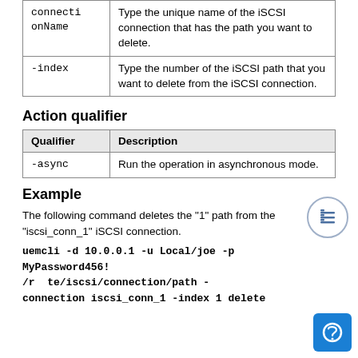| Parameter | Description |
| --- | --- |
| connectionName | Type the unique name of the iSCSI connection that has the path you want to delete. |
| -index | Type the number of the iSCSI path that you want to delete from the iSCSI connection. |
Action qualifier
| Qualifier | Description |
| --- | --- |
| -async | Run the operation in asynchronous mode. |
Example
The following command deletes the "1" path from the "iscsi_conn_1" iSCSI connection.
uemcli -d 10.0.0.1 -u Local/joe -p MyPassword456!
/remote/iscsi/connection/path -connection iscsi_conn_1 -index 1 delete